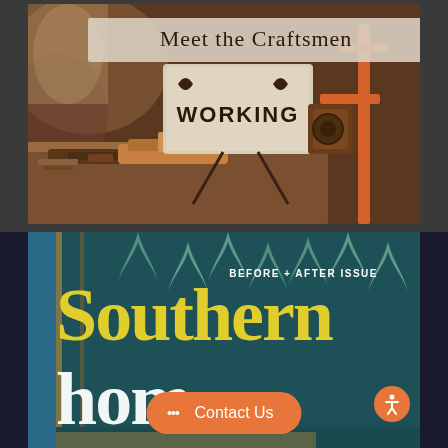[Figure (photo): Workshop scene with craftsman tools, woodworking equipment including a plane on a wooden workbench, a sign reading 'WORKING', and orange metal frame visible on the right. Warm, golden light. Title overlay reads 'Meet the Craftsmen'.]
Meet the Craftsmen
[Figure (photo): Southern Home magazine cover showing 'BEFORE + AFTER ISSUE' text in white on upper right, large yellow 'Southern' text, white 'hom' text partially visible, against a teal/blue botanical wallpapered interior background with glass doors. Orange accessibility icon button and orange 'Contact Us' button with chat bubble icon visible.]